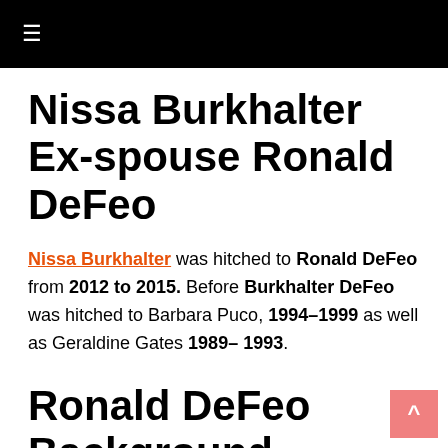≡
Nissa Burkhalter Ex-spouse Ronald DeFeo
Nissa Burkhalter was hitched to Ronald DeFeo from 2012 to 2015. Before Burkhalter DeFeo was hitched to Barbara Puco, 1994–1999 as well as Geraldine Gates 1989– 1993.
Ronald DeFeo Background